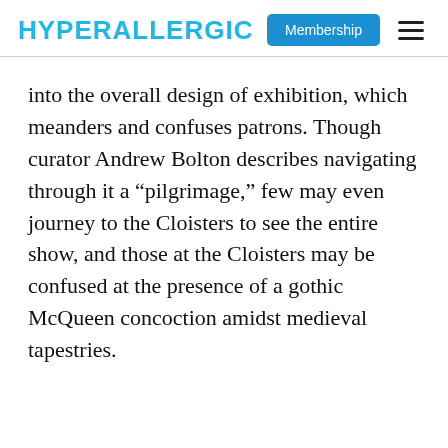HYPERALLERGIC | Membership
into the overall design of exhibition, which meanders and confuses patrons. Though curator Andrew Bolton describes navigating through it a “pilgrimage,” few may even journey to the Cloisters to see the entire show, and those at the Cloisters may be confused at the presence of a gothic McQueen concoction amidst medieval tapestries.